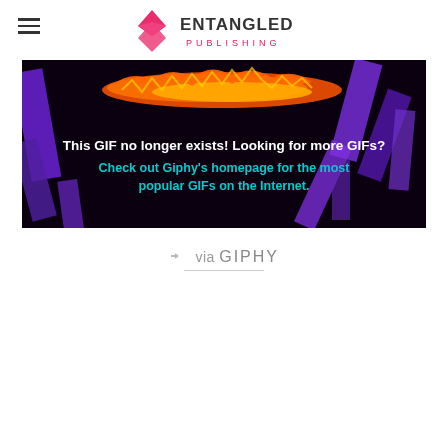Entangled Publishing (logo with hamburger menu)
[Figure (screenshot): Giphy error screen: dark background with colorful abstract purple and orange shapes. Text reads 'This GIF no longer exists! Looking for more GIFs? Check out Giphy's homepage for the most popular GIFs on the Internet.']
via GIPHY